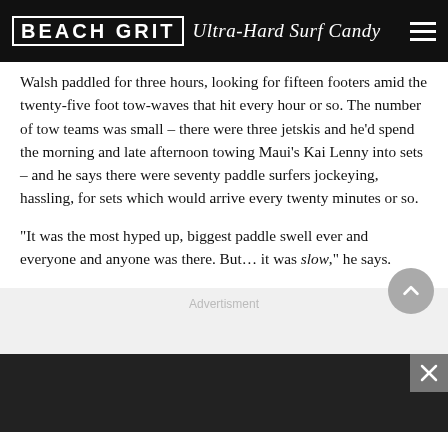BEACH GRIT Ultra-Hard Surf Candy
Walsh paddled for three hours, looking for fifteen footers amid the twenty-five foot tow-waves that hit every hour or so. The number of tow teams was small – there were three jetskis and he'd spend the morning and late afternoon towing Maui's Kai Lenny into sets – and he says there were seventy paddle surfers jockeying, hassling, for sets which would arrive every twenty minutes or so.
“It was the most hyped up, biggest paddle swell ever and everyone and anyone was there. But… it was slow,” he says.
Advertisment